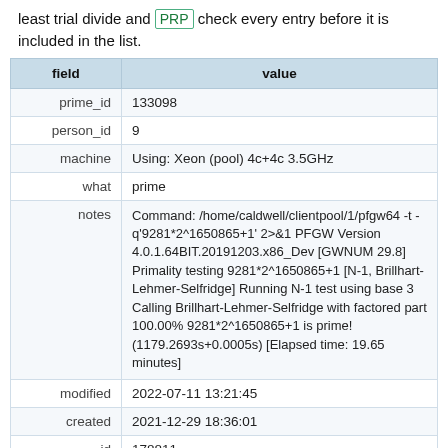least trial divide and PRP check every entry before it is included in the list.
| field | value |
| --- | --- |
| prime_id | 133098 |
| person_id | 9 |
| machine | Using: Xeon (pool) 4c+4c 3.5GHz |
| what | prime |
| notes | Command: /home/caldwell/clientpool/1/pfgw64 -t -q'9281*2^1650865+1' 2>&1 PFGW Version 4.0.1.64BIT.20191203.x86_Dev [GWNUM 29.8] Primality testing 9281*2^1650865+1 [N-1, Brillhart-Lehmer-Selfridge] Running N-1 test using base 3 Calling Brillhart-Lehmer-Selfridge with factored part 100.00% 9281*2^1650865+1 is prime! (1179.2693s+0.0005s) [Elapsed time: 19.65 minutes] |
| modified | 2022-07-11 13:21:45 |
| created | 2021-12-29 18:36:01 |
| id | 178811 |